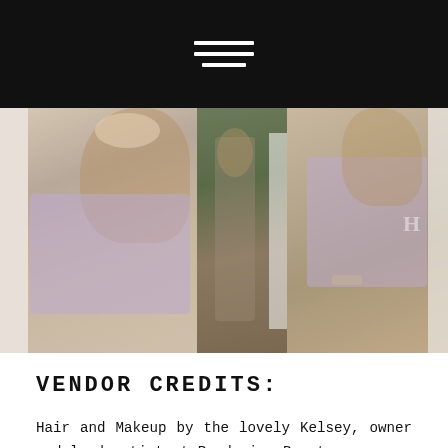[Figure (photo): Black navigation header bar with hamburger menu icon (three white horizontal lines, third line slightly shorter)]
[Figure (photo): Three-panel photo strip of a young woman with long blonde hair in a lavender t-shirt and jeans: left panel close-up smiling near white door, center panel full-body sitting outdoors, right panel torso close-up showing lavender shirt and bracelet]
VENDOR CREDITS:
Hair and Makeup by the lovely Kelsey, owner and lead artist at Rendering Beauty.
LET'S CHAT!